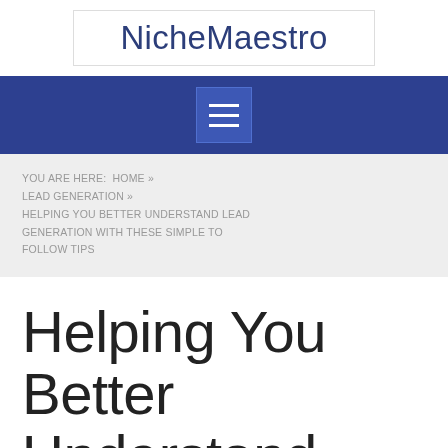NicheMaestro
[Figure (other): Hamburger menu icon button on navy navigation bar]
YOU ARE HERE:  HOME » LEAD GENERATION » HELPING YOU BETTER UNDERSTAND LEAD GENERATION WITH THESE SIMPLE TO FOLLOW TIPS
Helping You Better Understand Lead